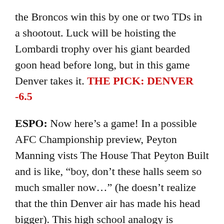the Broncos win this by one or two TDs in a shootout. Luck will be hoisting the Lombardi trophy over his giant bearded goon head before long, but in this game Denver takes it. THE PICK: DENVER -6.5
ESPO: Now here's a game! In a possible AFC Championship preview, Peyton Manning vists The House That Peyton Built and is like, "boy, don't these halls seem so much smaller now..." (he doesn't realize that the thin Denver air has made his head bigger). This high school analogy is actually quite fitting, since Andrew